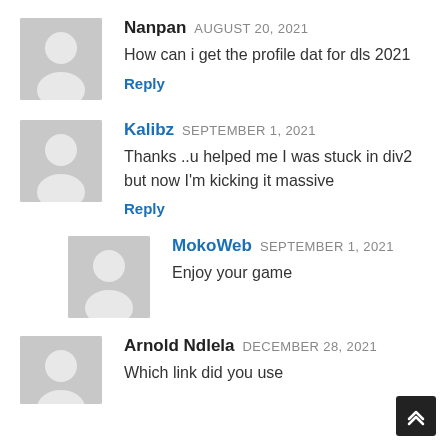Nanpan AUGUST 20, 2021
How can i get the profile dat for dls 2021
Reply
Kalibz SEPTEMBER 1, 2021
Thanks ..u helped me I was stuck in div2 but now I'm kicking it massive
Reply
MokoWeb SEPTEMBER 1, 2021
Enjoy your game
Arnold Ndlela DECEMBER 28, 2021
Which link did you use